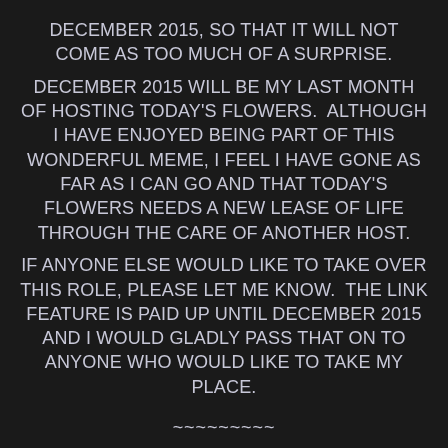DECEMBER 2015, SO THAT IT WILL NOT COME AS TOO MUCH OF A SURPRISE.
DECEMBER 2015 WILL BE MY LAST MONTH OF HOSTING TODAY'S FLOWERS.  ALTHOUGH I HAVE ENJOYED BEING PART OF THIS WONDERFUL MEME, I FEEL I HAVE GONE AS FAR AS I CAN GO AND THAT TODAY'S FLOWERS NEEDS A NEW LEASE OF LIFE THROUGH THE CARE OF ANOTHER HOST.
IF ANYONE ELSE WOULD LIKE TO TAKE OVER THIS ROLE, PLEASE LET ME KNOW.  THE LINK FEATURE IS PAID UP UNTIL DECEMBER 2015 AND I WOULD GLADLY PASS THAT ON TO ANYONE WHO WOULD LIKE TO TAKE MY PLACE.
~~~~~~~~~